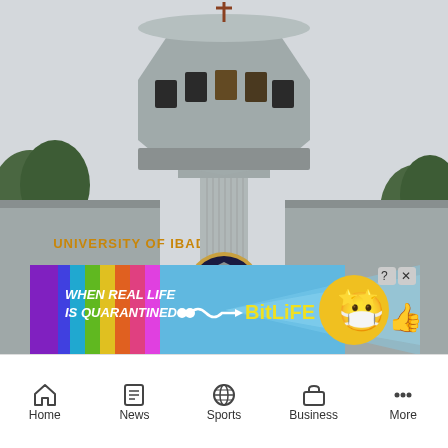[Figure (photo): University of Ibadan entrance gate building featuring a circular tower with a cross on top, the university crest/shield emblem on a column, and 'UNIVERSITY OF IBADAN' text on the wall. Photographed from outside the gate.]
[Figure (infographic): Advertisement banner for BitLife mobile game: rainbow gradient background with blue light rays, text 'WHEN REAL LIFE IS QUARANTINED' on left, wavy arrow pointing to 'BITLIFE' text in yellow, cartoon masked emoji face with star eyes, thumbs up emoji, and close/help buttons in top right corner.]
Home   News   Sports   Business   More